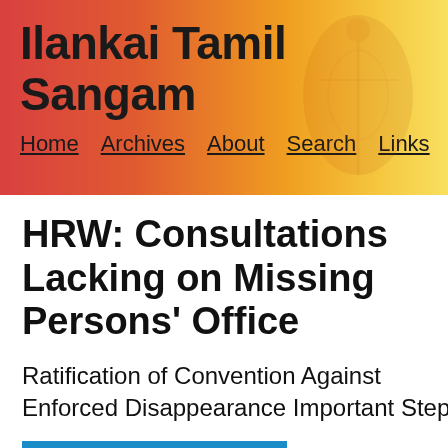Ilankai Tamil Sangam
Home   Archives   About   Search   Links
HRW: Consultations Lacking on Missing Persons' Office
Ratification of Convention Against Enforced Disappearance Important Step
[Figure (logo): Human Rights Watch blue logo with text HUMAN in white bold letters on blue background]